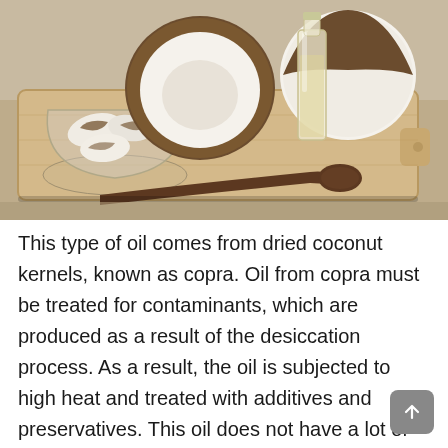[Figure (photo): Photo of coconut pieces in a glass bowl, halved coconuts, a bottle of coconut oil, and a wooden spoon arranged on a wooden cutting board]
This type of oil comes from dried coconut kernels, known as copra. Oil from copra must be treated for contaminants, which are produced as a result of the desiccation process. As a result, the oil is subjected to high heat and treated with additives and preservatives. This oil does not have a lot of flavor but a higher smoking point making it perfect for cooking. If you buy refined coconut oil, you want one